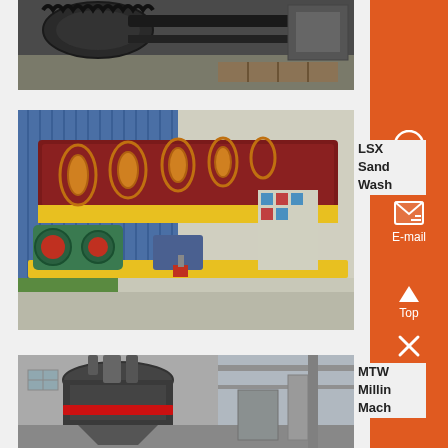[Figure (photo): Close-up photo of industrial machinery showing large gears and mechanical components in a factory setting, dark grey/black metal parts]
[Figure (photo): LSX Sand Washer machine - a yellow spiral sand washing machine with red trough, green motor drive unit, set outdoors near blue corrugated metal wall]
LSX Sand Wash
[Figure (photo): MTW Milling Machine - large industrial cone-shaped milling machine with red ring, dark grey body, inside a factory building with steel framework]
MTW Millin Mach
Chat
E-mail
Top